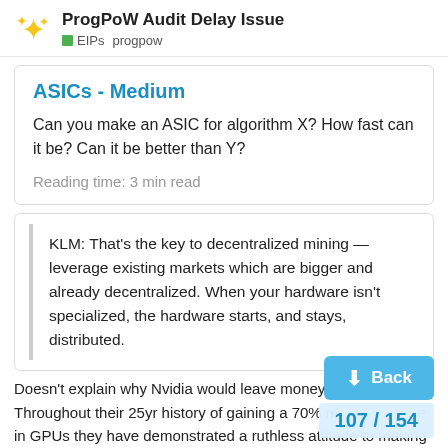ProgPoW Audit Delay Issue
EIPs  progpow
ASICs - Medium
Can you make an ASIC for algorithm X? How fast can it be? Can it be better than Y?
Reading time: 3 min read
KLM: That's the key to decentralized mining — leverage existing markets which are bigger and already decentralized. When your hardware isn't specialized, the hardware starts, and stays, distributed.
Doesn't explain why Nvidia would leave money on the table. Throughout their 25yr history of gaining a 70% market share in GPUs they have demonstrated a ruthless attitude to making money.
Given its history we must assume, and Pro…